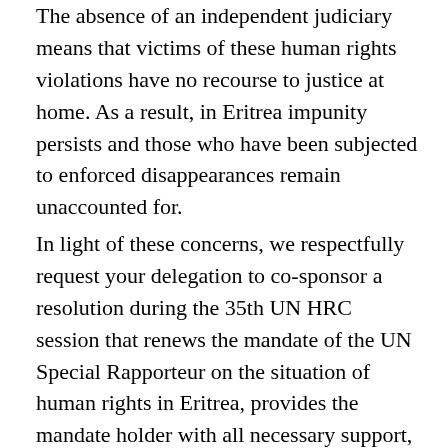The absence of an independent judiciary means that victims of these human rights violations have no recourse to justice at home. As a result, in Eritrea impunity persists and those who have been subjected to enforced disappearances remain unaccounted for.
In light of these concerns, we respectfully request your delegation to co-sponsor a resolution during the 35th UN HRC session that renews the mandate of the UN Special Rapporteur on the situation of human rights in Eritrea, provides the mandate holder with all necessary support, and urges the Government of Eritrea to cooperate with the mandate holder including allowing unencumbered access to the country.